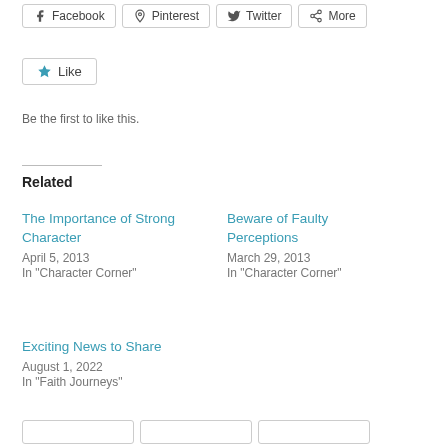Facebook  Pinterest  Twitter  More
Like
Be the first to like this.
Related
The Importance of Strong Character
April 5, 2013
In "Character Corner"
Beware of Faulty Perceptions
March 29, 2013
In "Character Corner"
Exciting News to Share
August 1, 2022
In "Faith Journeys"